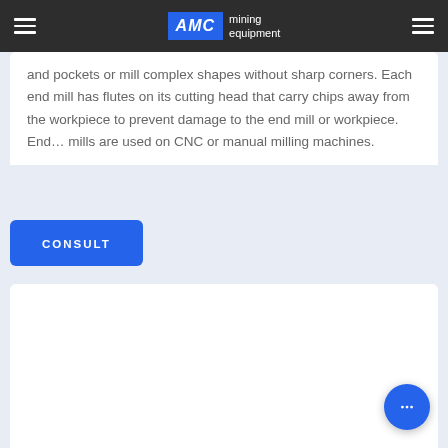AMC mining equipment
and pockets or mill complex shapes without sharp corners. Each end mill has flutes on its cutting head that carry chips away from the workpiece to prevent damage to the end mill or workpiece. End… mills are used on CNC or manual milling machines.
CONSULT
[Figure (other): White content card area, partially visible, lower section of page]